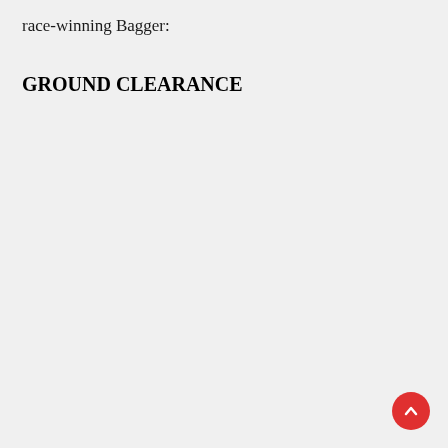race-winning Bagger:
GROUND CLEARANCE